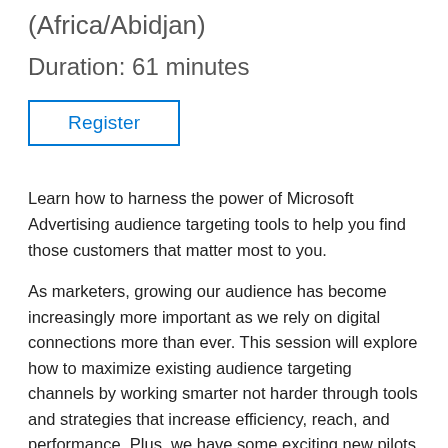(Africa/Abidjan)
Duration: 61 minutes
Register
Learn how to harness the power of Microsoft Advertising audience targeting tools to help you find those customers that matter most to you.
As marketers, growing our audience has become increasingly more important as we rely on digital connections more than ever. This session will explore how to maximize existing audience targeting channels by working smarter not harder through tools and strategies that increase efficiency, reach, and performance. Plus, we have some exciting new pilots that you can take advantage of. We will hear from product experts